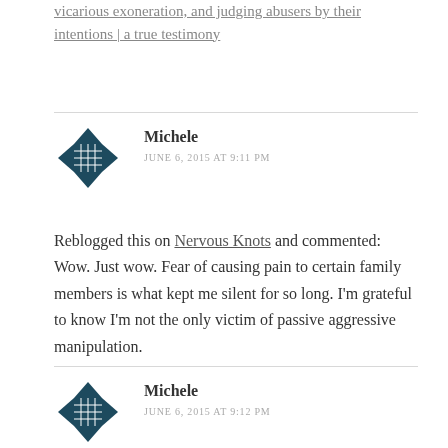vicarious exoneration, and judging abusers by their intentions | a true testimony
Michele
JUNE 6, 2015 AT 9:11 PM
Reblogged this on Nervous Knots and commented: Wow. Just wow. Fear of causing pain to certain family members is what kept me silent for so long. I'm grateful to know I'm not the only victim of passive aggressive manipulation.
Michele
JUNE 6, 2015 AT 9:12 PM